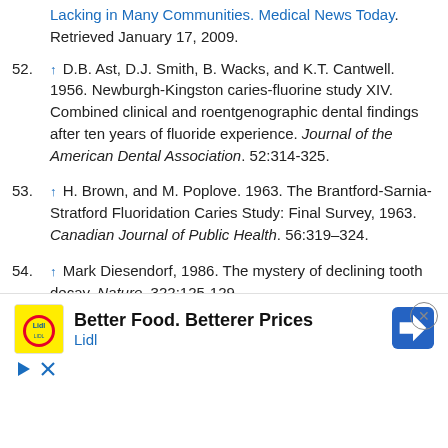51. ↑ [link: Lacking in Many Communities. Medical News Today]. Retrieved January 17, 2009.
52. ↑ D.B. Ast, D.J. Smith, B. Wacks, and K.T. Cantwell. 1956. Newburgh-Kingston caries-fluorine study XIV. Combined clinical and roentgenographic dental findings after ten years of fluoride experience. Journal of the American Dental Association. 52:314-325.
53. ↑ H. Brown, and M. Poplove. 1963. The Brantford-Sarnia-Stratford Fluoridation Caries Study: Final Survey, 1963. Canadian Journal of Public Health. 56:319–324.
54. ↑ Mark Diesendorf, 1986. The mystery of declining tooth decay. Nature. 322:125-129.
55. ↑ [partially obscured] ...of the flu...logical Qu...
[Figure (screenshot): Advertisement overlay for Lidl: 'Better Food. Betterer Prices' with Lidl logo and navigation icon, plus close button and playback controls.]